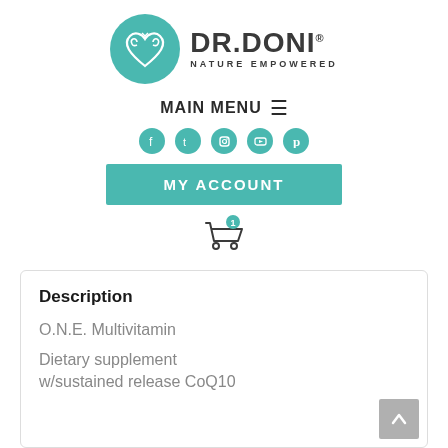[Figure (logo): Dr. Doni Nature Empowered logo — teal circle with heart/owl motif on left, bold text DR.DONI® with tagline NATURE EMPOWERED on right]
MAIN MENU ≡
[Figure (infographic): Row of 5 teal circular social media icons: Facebook, Twitter, Instagram, YouTube, Pinterest]
MY ACCOUNT
[Figure (infographic): Shopping cart icon with teal badge showing number 1]
Description
O.N.E. Multivitamin
Dietary supplement w/sustained release CoQ10